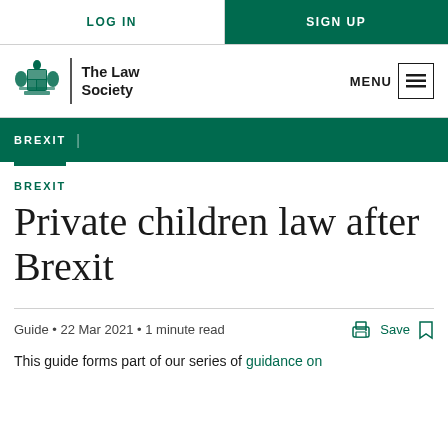LOG IN | SIGN UP
[Figure (logo): The Law Society logo with crest and text 'The Law Society']
MENU
BREXIT
BREXIT
Private children law after Brexit
Guide • 22 Mar 2021 • 1 minute read
This guide forms part of our series of guidance on